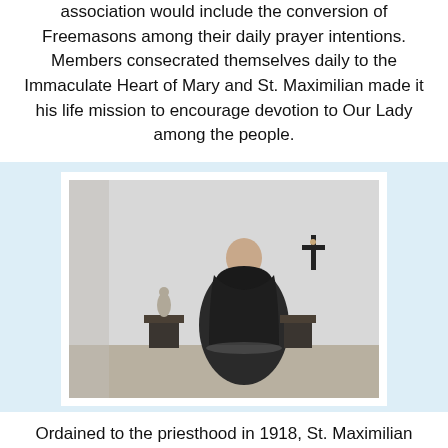association would include the conversion of Freemasons among their daily prayer intentions. Members consecrated themselves daily to the Immaculate Heart of Mary and St. Maximilian made it his life mission to encourage devotion to Our Lady among the people.
[Figure (photo): Black and white photograph of St. Maximilian Kolbe in his Franciscan habit standing in a room, with a religious statue on a stand to his left and a crucifix on the wall to his right.]
Ordained to the priesthood in 1918, St. Maximilian returned to Poland to teach Church History in Cracow, where he organised the first group of the Militia outside of Italy. Because of ill health he was freed to devote his time exclusively to the promotion of the Militia, whereupon he founded the "Knight of the Immaculate," a monthly Roman Catholic Magazine promoting the knowledge, love and association of the Immaculate Virgin in the conversion of all